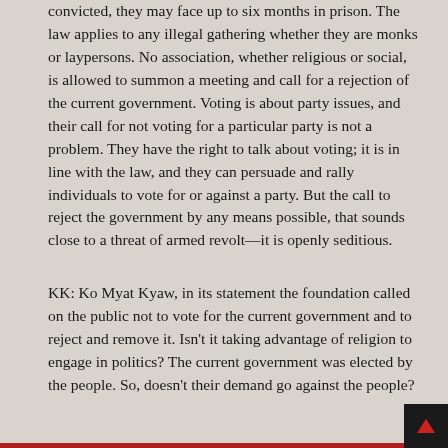convicted, they may face up to six months in prison. The law applies to any illegal gathering whether they are monks or laypersons. No association, whether religious or social, is allowed to summon a meeting and call for a rejection of the current government. Voting is about party issues, and their call for not voting for a particular party is not a problem. They have the right to talk about voting; it is in line with the law, and they can persuade and rally individuals to vote for or against a party. But the call to reject the government by any means possible, that sounds close to a threat of armed revolt—it is openly seditious.
KK: Ko Myat Kyaw, in its statement the foundation called on the public not to vote for the current government and to reject and remove it. Isn't it taking advantage of religion to engage in politics? The current government was elected by the people. So, doesn't their demand go against the people?